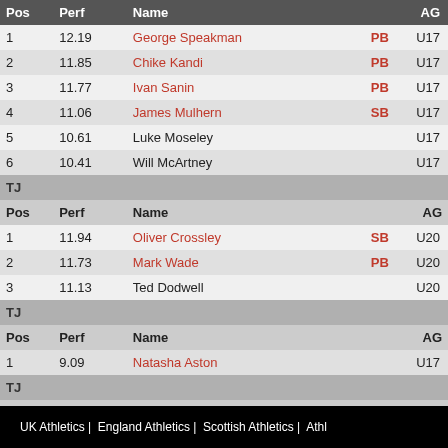| Pos | Perf | Name |  | AG |
| --- | --- | --- | --- | --- |
| 1 | 12.19 | George Speakman | PB | U17 |
| 2 | 11.85 | Chike Kandi | PB | U17 |
| 3 | 11.77 | Ivan Sanin | PB | U17 |
| 4 | 11.06 | James Mulhern | SB | U17 |
| 5 | 10.61 | Luke Moseley |  | U17 |
| 6 | 10.41 | Will McArtney |  | U17 |
| TJ |  |  |  |  |
| Pos | Perf | Name |  | AG |
| 1 | 11.94 | Oliver Crossley | SB | U20 |
| 2 | 11.73 | Mark Wade | PB | U20 |
| 3 | 11.13 | Ted Dodwell |  | U20 |
| TJ |  |  |  |  |
| Pos | Perf | Name |  | AG |
| 1 | 9.09 | Natasha Aston |  | U17 |
| TJ |  |  |  |  |
| Pos | Perf | Name |  | AG |
| 1 | 9.09 | Naomi Farquharson | SB | U20 |
UK Athletics |  England Athletics |  Scottish Athletics |  Athl